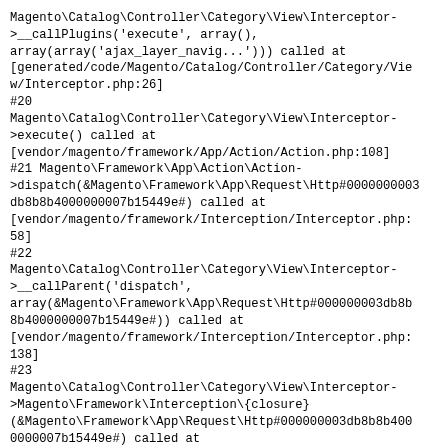Magento\Catalog\Controller\Category\View\Interceptor->__callPlugins('execute', array(), array(array('ajax_layer_navig...'))) called at [generated/code/Magento/Catalog/Controller/Category/View/Interceptor.php:26]
#20
Magento\Catalog\Controller\Category\View\Interceptor->execute() called at [vendor/magento/framework/App/Action/Action.php:108]
#21 Magento\Framework\App\Action\Action->dispatch(&Magento\Framework\App\Request\Http#0000000003db8b8b4000000007b15449e#) called at [vendor/magento/framework/Interception/Interceptor.php:58]
#22
Magento\Catalog\Controller\Category\View\Interceptor->__callParent('dispatch', array(&Magento\Framework\App\Request\Http#000000003db8b8b4000000007b15449e#)) called at [vendor/magento/framework/Interception/Interceptor.php:138]
#23
Magento\Catalog\Controller\Category\View\Interceptor->Magento\Framework\Interception\{closure}(&Magento\Framework\App\Request\Http#000000003db8b8b4000000007b15449e#) called at [vendor/magento/framework/Interception/Interceptor.php:153]
#24
Magento\Catalog\Controller\Category\View\Interceptor-